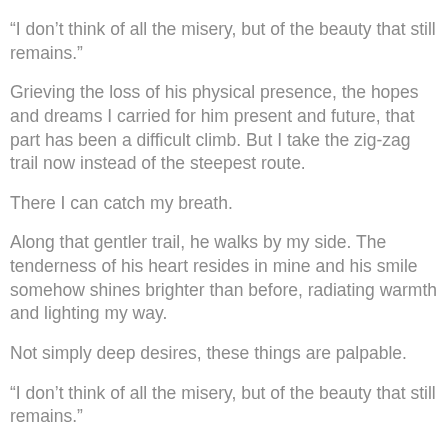“I don’t think of all the misery, but of the beauty that still remains.”
Grieving the loss of his physical presence, the hopes and dreams I carried for him present and future, that part has been a difficult climb. But I take the zig-zag trail now instead of the steepest route.
There I can catch my breath.
Along that gentler trail, he walks by my side. The tenderness of his heart resides in mine and his smile somehow shines brighter than before, radiating warmth and lighting my way.
Not simply deep desires, these things are palpable.
“I don’t think of all the misery, but of the beauty that still remains.”